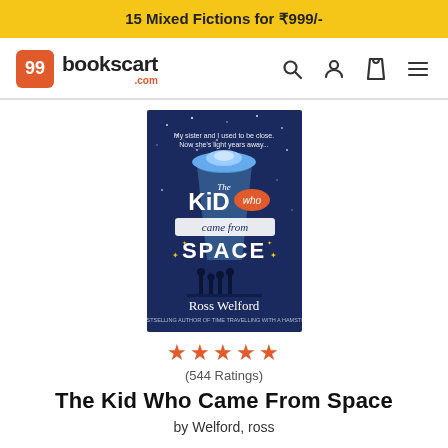15 Mixed Fictions for ₹999/-
[Figure (logo): 99bookscart.com logo with orange book icon and bold text]
[Figure (illustration): Book cover of 'The Kid Who Came From Space' by Ross Welford, dark blue cover with UFO and children silhouette]
★★★★★
(544 Ratings)
The Kid Who Came From Space
by Welford, ross